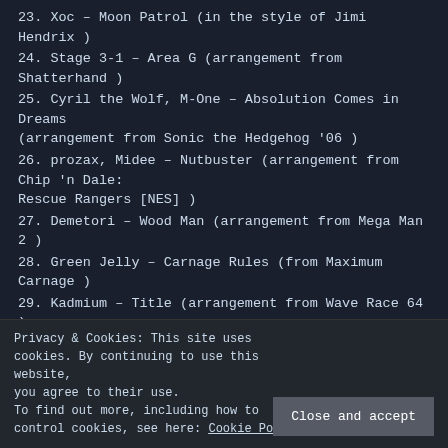23. Xoc – Moon Patrol (in the style of Jimi Hendrix )
24. Stage 3-1 – Area G (arrangement from Shatterhand )
25. Cyril the Wolf, M-One – Absolution Comes in Dreams (arrangement from Sonic the Hedgehog '06 )
26. prozax, Midee – Nutbuster (arrangement from Chip 'n Dale: Rescue Rangers [NES] )
27. Demetori – Wood Man (arrangement from Mega Man 2 )
28. Green Jelly – Carnage Rules (from Maximum Carnage )
29. Kadmium – Title (arrangement from Wave Race 64 )
30. Preludio – Battle 1 – Battle 3 (arrangement from Final Fantasy Mystic Quest )
31. Takenobu Mitsuyoshi – LAST WAVE [H.] Vocal Version (from Outrun 2 Original Soundtrack )
Filed under GameFuel (Inactive) | Tagged Arecibo Radio, Bayonetta, Binster, Cyril, Cyril the Wolf, Daniel Tidwell, Daytona USA, Demetori, Dennis, Dennis St. James, Derric...
Privacy & Cookies: This site uses cookies. By continuing to use this website, you agree to their use. To find out more, including how to control cookies, see here: Cookie Policy
Close and accept